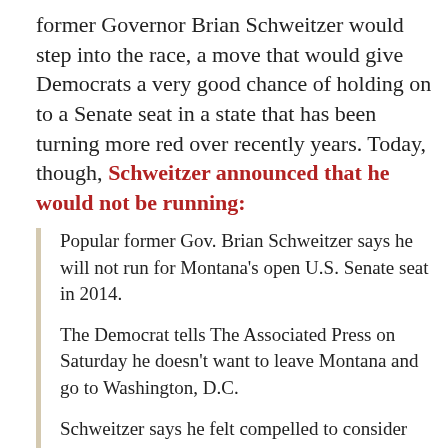former Governor Brian Schweitzer would step into the race, a move that would give Democrats a very good chance of holding on to a Senate seat in a state that has been turning more red over recently years. Today, though, Schweitzer announced that he would not be running:
Popular former Gov. Brian Schweitzer says he will not run for Montana's open U.S. Senate seat in 2014.
The Democrat tells The Associated Press on Saturday he doesn't want to leave Montana and go to Washington, D.C.
Schweitzer says he felt compelled to consider the race because many in his party said they needed him to run.
He was considered the best chance Democrats have to hold onto the seat being vacated by U.S. Sen. Max Baucus next year.